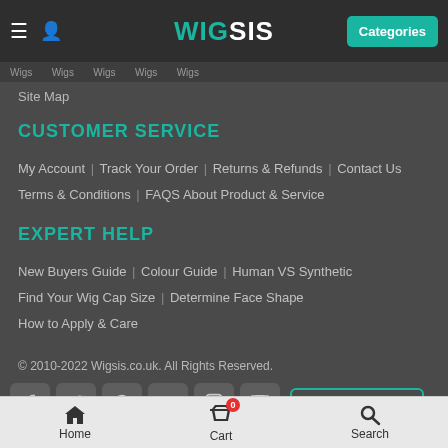WIGSIS | Categories
Site Map
CUSTOMER SERVICE
My Account | Track Your Order | Returns & Refunds | Contact Us
Terms & Conditions | FAQS About Product & Service
EXPERT HELP
New Buyers Guide | Colour Guide | Human VS Synthetic
Find Your Wig Cap Size | Determine Face Shape
How to Apply & Care
© 2010-2022 Wigsis.co.uk. All Rights Reserved.
Social icons: Facebook, Twitter, Pinterest, Google+, Instagram, YouTube | WIGSIS BLOG
Home | Cart (0) | Search